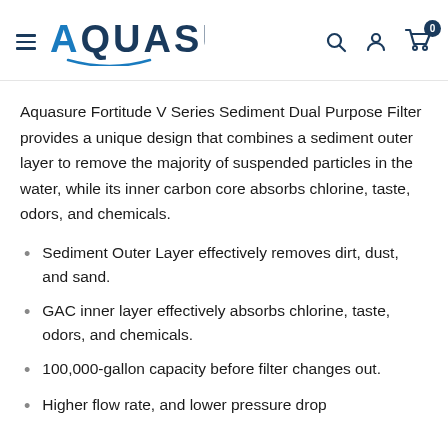AQUASURE
Aquasure Fortitude V Series Sediment Dual Purpose Filter provides a unique design that combines a sediment outer layer to remove the majority of suspended particles in the water, while its inner carbon core absorbs chlorine, taste, odors, and chemicals.
Sediment Outer Layer effectively removes dirt, dust, and sand.
GAC inner layer effectively absorbs chlorine, taste, odors, and chemicals.
100,000-gallon capacity before filter changes out.
Higher flow rate, and lower pressure drop